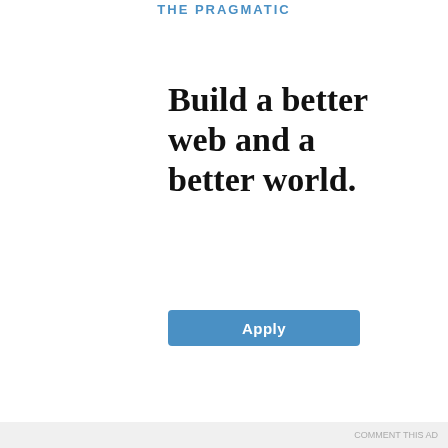THE PRAGMATIC
Build a better web and a better world.
Apply
Privacy & Cookies: This site uses cookies. By continuing to use this website, you agree to their use.
To find out more, including how to control cookies, see here: Cookie Policy
Close and accept